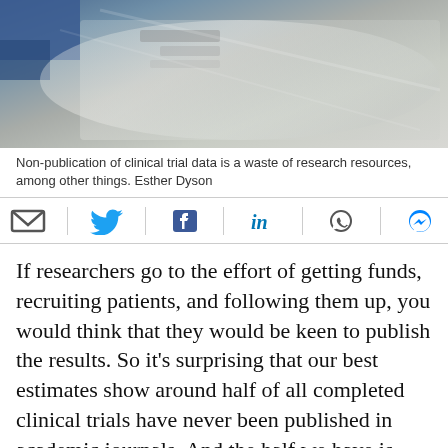[Figure (photo): A photograph of laboratory/clinical trial materials in plastic wrapping, with a blue-gloved hand visible at top left. The image is partially cropped at the top.]
Non-publication of clinical trial data is a waste of research resources, among other things. Esther Dyson
[Figure (infographic): Social sharing icon bar with email, Twitter, Facebook, LinkedIn, WhatsApp, and Messenger icons]
If researchers go to the effort of getting funds, recruiting patients, and following them up, you would think that they would be keen to publish the results. So it’s surprising that our best estimates show around half of all completed clinical trials have never been published in academic journals. And the half we have is biased towards trials with positive results.
Non-publication is both a waste of research resources, and a problem for decision makers